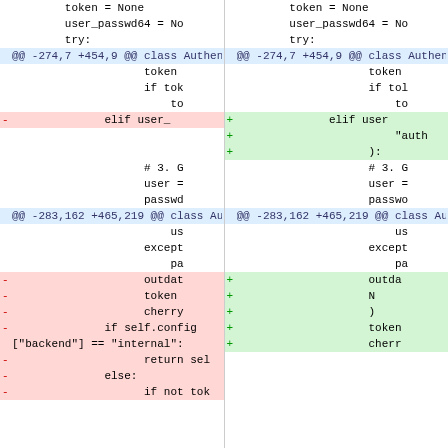[Figure (screenshot): Side-by-side code diff view showing changes to a Python Authenticator class. Left column shows old code (removed lines in red), right column shows new code (added lines in green). Hunk headers show @@ -274,7 +454,9 @@ class Authenticator: and @@ -283,162 +465,219 @@ class Authenticator:]